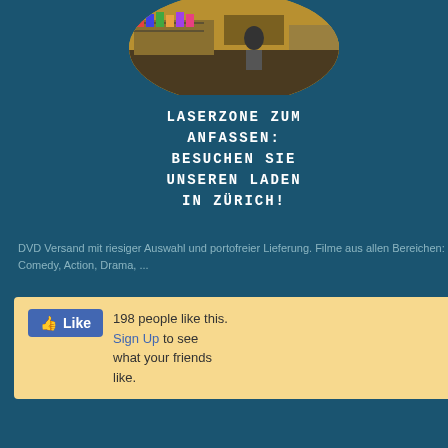[Figure (photo): Circular cropped photo of a store interior (Laserzone shop in Zurich) showing shelves and display cases]
LASERZONE ZUM ANFASSEN: BESUCHEN SIE UNSEREN LADEN IN ZÜRICH!
DVD Versand mit riesiger Auswahl und portofreier Lieferung. Filme aus allen Bereichen: Comedy, Action, Drama, ...
[Figure (screenshot): Facebook Like box widget showing 198 people like this. Sign Up to see what your friends like.]
| Label | Value |
| --- | --- |
|  | Su... |
| Untertitel | En...
Fra...
Spa... |
| Covertext | Ba...
sto...
Mo...
of t...
wh...
ma...
en...
wa...
the...
am...
kill...
so...
rev...
Bo...
act...
the...
dis...
a G...
mis...
to t...
thr...
of t...
co...
co...
mil... |